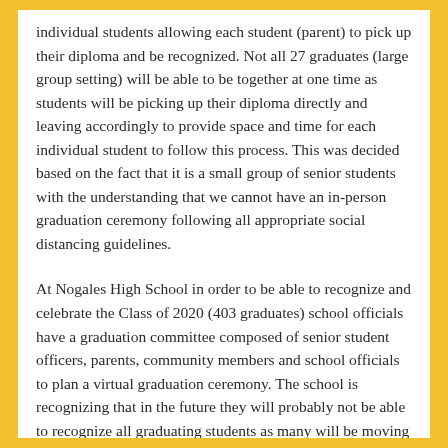individual students allowing each student (parent) to pick up their diploma and be recognized. Not all 27 graduates (large group setting) will be able to be together at one time as students will be picking up their diploma directly and leaving accordingly to provide space and time for each individual student to follow this process. This was decided based on the fact that it is a small group of senior students with the understanding that we cannot have an in-person graduation ceremony following all appropriate social distancing guidelines.
At Nogales High School in order to be able to recognize and celebrate the Class of 2020 (403 graduates) school officials have a graduation committee composed of senior student officers, parents, community members and school officials to plan a virtual graduation ceremony. The school is recognizing that in the future they will probably not be able to recognize all graduating students as many will be moving on with summer college programs